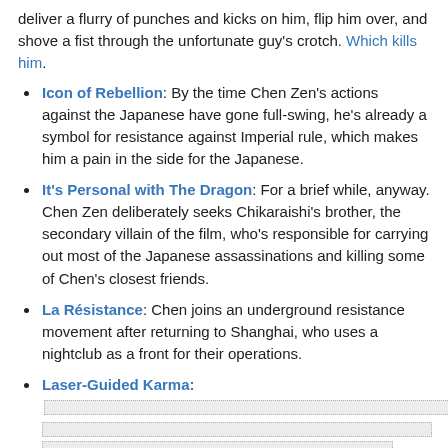deliver a flurry of punches and kicks on him, flip him over, and shove a fist through the unfortunate guy's crotch. Which kills him.
Icon of Rebellion: By the time Chen Zen's actions against the Japanese have gone full-swing, he's already a symbol for resistance against Imperial rule, which makes him a pain in the side for the Japanese.
It's Personal with The Dragon: For a brief while, anyway. Chen Zen deliberately seeks Chikaraishi's brother, the secondary villain of the film, who's responsible for carrying out most of the Japanese assassinations and killing some of Chen's closest friends.
La Résistance: Chen joins an underground resistance movement after returning to Shanghai, who uses a nightclub as a front for their operations.
Laser-Guided Karma: [spoiler text]